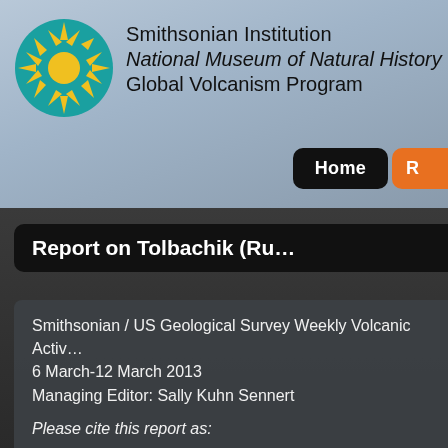[Figure (logo): Smithsonian Institution sunburst logo on teal/blue circle background]
Smithsonian Institution
National Museum of Natural History
Global Volcanism Program
Report on Tolbachik (Ru…
Smithsonian / US Geological Survey Weekly Volcanic Activ…
6 March-12 March 2013
Managing Editor: Sally Kuhn Sennert
Please cite this report as:
Global Volcanism Program, 2013. Report on Tolbachik (Ru… (ed.), Weekly Volcanic Activity Report, 6 March-12 March 2… Institution and US Geological Survey.